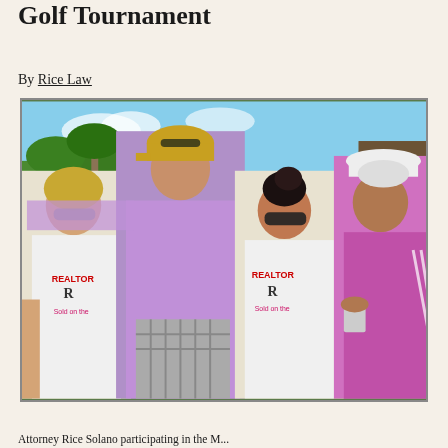Golf Tournament
By Rice Law
[Figure (photo): Group photo of four people at a golf tournament. Two women wearing white REALTORS tank tops with pink logo, and two men in purple/lavender polo shirts. One man wears a yellow baseball cap, another wears a white cowboy hat. They are standing outdoors on a golf course with green grass and trees in the background.]
Attorney Rice Solano participating in the M...